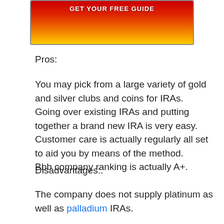[Figure (other): Red to yellow gradient banner with white bold text at the top of the page, partially cropped]
Pros:
You may pick from a large variety of gold and silver clubs and coins for IRAs.
Going over existing IRAs and putting together a brand new IRA is very easy.
Customer care is actually regularly all set to aid you by means of the method.
Bbb company ranking is actually A+.
Disadvantages:.
The company does not supply platinum as well as palladium IRAs.